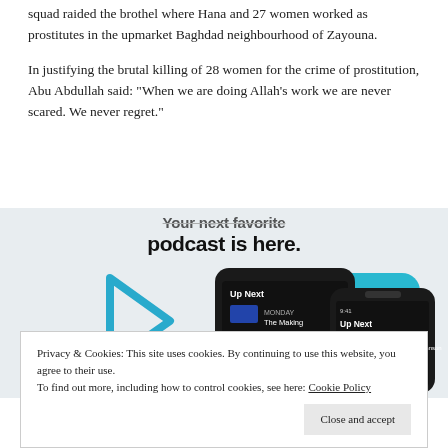squad raided the brothel where Hana and 27 women worked as prostitutes in the upmarket Baghdad neighbourhood of Zayouna.
In justifying the brutal killing of 28 women for the crime of prostitution, Abu Abdullah said: “When we are doing Allah’s work we are never scared. We never regret.”
[Figure (screenshot): Podcast advertisement screenshot showing 'Your next favorite podcast is here.' text with smartphone mockups displaying podcast app UI with 'Up Next' queue and episode listing for 'The Making of Boris Johnson'. Blue play button icon and teal card visible alongside dark-themed phone screens.]
Privacy & Cookies: This site uses cookies. By continuing to use this website, you agree to their use.
To find out more, including how to control cookies, see here: Cookie Policy
Close and accept